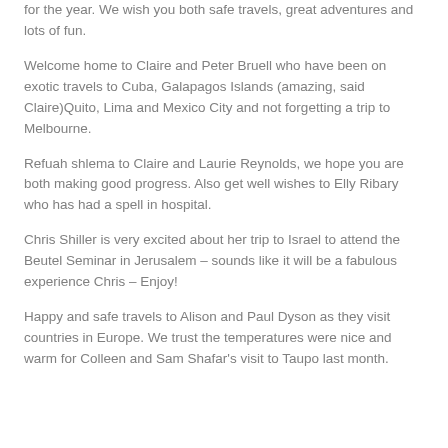for the year. We wish you both safe travels, great adventures and lots of fun.
Welcome home to Claire and Peter Bruell who have been on exotic travels to Cuba, Galapagos Islands (amazing, said Claire)Quito, Lima and Mexico City and not forgetting a trip to Melbourne.
Refuah shlema to Claire and Laurie Reynolds, we hope you are both making good progress. Also get well wishes to Elly Ribary who has had a spell in hospital.
Chris Shiller is very excited about her trip to Israel to attend the Beutel Seminar in Jerusalem – sounds like it will be a fabulous experience Chris – Enjoy!
Happy and safe travels to Alison and Paul Dyson as they visit countries in Europe. We trust the temperatures were nice and warm for Colleen and Sam Shafar's visit to Taupo last month.